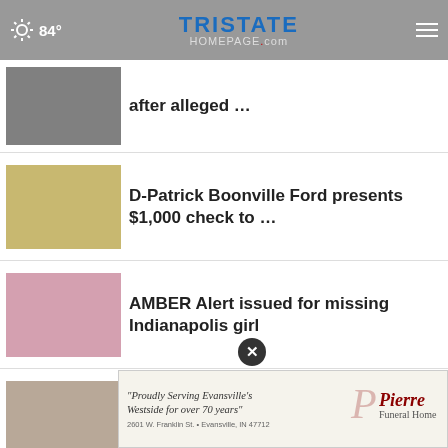84° Tristate Homepage.com
after alleged …
D-Patrick Boonville Ford presents $1,000 check to …
AMBER Alert issued for missing Indianapolis girl
Funeral arrangements announced for a victim of Harbor …
ISP: Evansville teen accused of driving 100 MPH while …
Services announced for Allen…
Former KSP Lt. Colonel, Scott County
"Proudly Serving Evansville's Westside for over 70 years" Pierre Funeral Home 2601 W. Franklin St. • Evansville, IN 47712